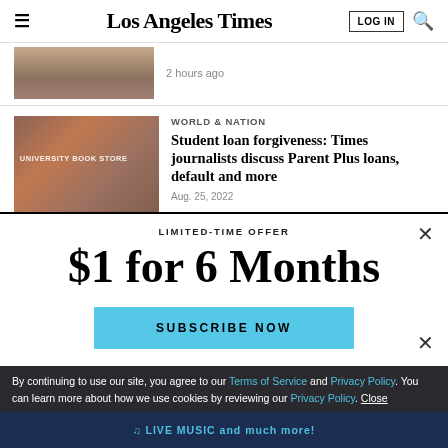Los Angeles Times
2 hours ago
WORLD & NATION
Student loan forgiveness: Times journalists discuss Parent Plus loans, default and more
Aug. 25, 2022
LIMITED-TIME OFFER
$1 for 6 Months
SUBSCRIBE NOW
By continuing to use our site, you agree to our Terms of Service and Privacy Policy. You can learn more about how we use cookies by reviewing our Privacy Policy. Close